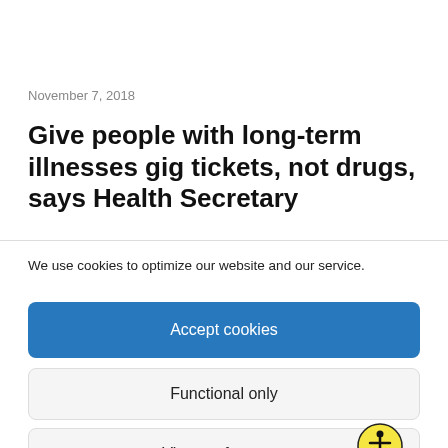November 7, 2018
Give people with long-term illnesses gig tickets, not drugs, says Health Secretary
We use cookies to optimize our website and our service.
Accept cookies
Functional only
View preferences